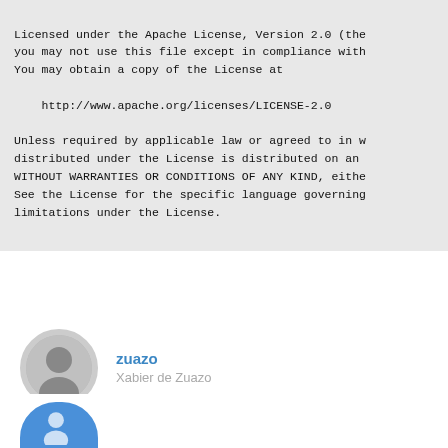Licensed under the Apache License, Version 2.0 (the
you may not use this file except in compliance with
You may obtain a copy of the License at

    http://www.apache.org/licenses/LICENSE-2.0

Unless required by applicable law or agreed to in w
distributed under the License is distributed on an
WITHOUT WARRANTIES OR CONDITIONS OF ANY KIND, eithe
See the License for the specific language governing
limitations under the License.
zuazo
Xabier de Zuazo